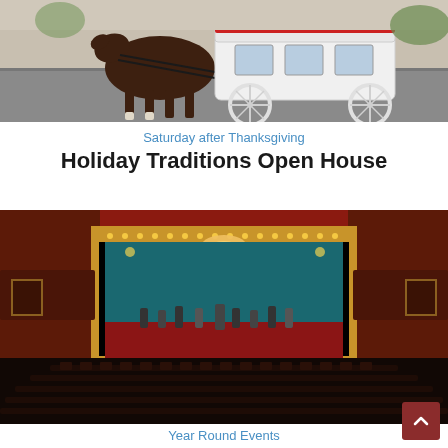[Figure (photo): Horse and white carriage on a street, viewed from front-left angle]
Saturday after Thanksgiving
Holiday Traditions Open House
[Figure (photo): Interior of a theater with red walls, ornate gold stage framing, blue curtain, performers on stage, and empty seats in foreground]
Year Round Events